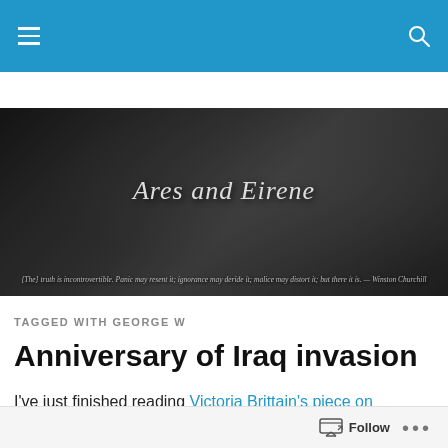Navigation bar with menu and search icons
[Figure (illustration): Blog header banner image showing 'Ares and Eirene' in italic script with a dark atmospheric background and a Churchill quote about truth at the bottom]
TAGGED WITH GEORGE W
Anniversary of Iraq invasion
I've just finished reading Victoria Brittain's piece on TomDispatch.  I know a bit about how bad things have been for people under suspicion of terrorism here in the
Follow  •••